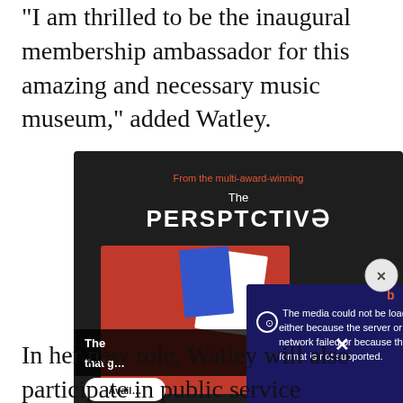“I am thrilled to be the inaugural membership ambassador for this amazing and necessary music museum,” added Watley.
[Figure (screenshot): Advertisement for 'The PERSPECTIVE' publication overlaid with a video player error overlay reading 'The media could not be loaded, either because the server or network failed or because the format is not supported.' A close (X) button appears at the top right of the overlay.]
In her new role, Watley will also participate in public service announcements and help to promote the museum.